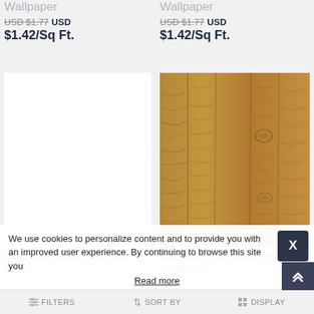Wallpaper
Wallpaper
USD $1.77  USD $1.42/Sq Ft.
USD $1.77  USD $1.42/Sq Ft.
[Figure (photo): White/blank product image placeholder for Mammoth Wheat Diagonal Wood Wallpaper]
[Figure (photo): Michael Brown Wood Texture Wallpaper product image showing brown wood grain planks]
Mammoth Wheat Diagonal Wood
Michael Brown Wood Texture Wallpaper
We use cookies to personalize content and to provide you with an improved user experience. By continuing to browse this site you
Read more
FILTERS   SORT BY   DISPLAY